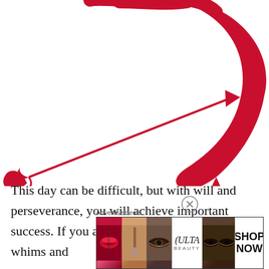[Figure (illustration): Red decorative Sagittarius zodiac symbol (bow and arrow) in a stylized calligraphic red design on white background, partially cropped at top]
This day can be difficult, but with will and perseverance, you will achieve important success. If you avoid the manifestations of whims and
Advertisements
[Figure (photo): Ulta Beauty advertisement banner showing lips with lipstick, makeup brush, eye with makeup, Ulta logo, eyes with smoky makeup, and SHOP NOW button]